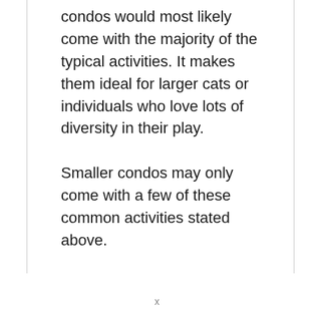condos would most likely come with the majority of the typical activities. It makes them ideal for larger cats or individuals who love lots of diversity in their play.
Smaller condos may only come with a few of these common activities stated above.
x